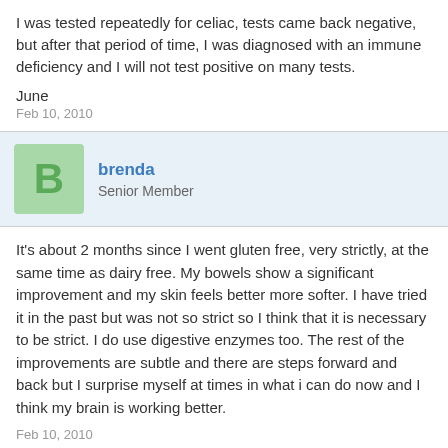I was tested repeatedly for celiac, tests came back negative, but after that period of time, I was diagnosed with an immune deficiency and I will not test positive on many tests.
June
Feb 10, 2010
brenda
Senior Member
It's about 2 months since I went gluten free, very strictly, at the same time as dairy free. My bowels show a significant improvement and my skin feels better more softer. I have tried it in the past but was not so strict so I think that it is necessary to be strict. I do use digestive enzymes too. The rest of the improvements are subtle and there are steps forward and back but I surprise myself at times in what i can do now and I think my brain is working better.
Feb 10, 2010